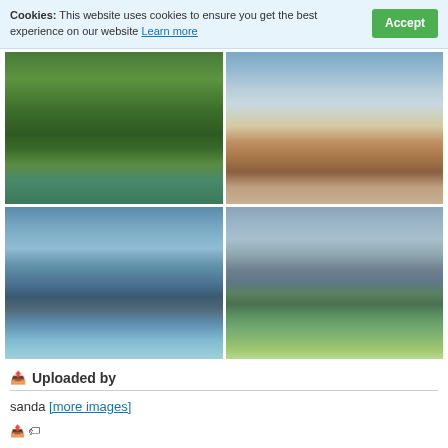Cookies: This website uses cookies to ensure you get the best experience on our website Learn more Accept
[Figure (photo): Forest with green trees reflecting in a calm green lake]
[Figure (photo): Lake at sunset with dramatic cloudy sky and a log in the foreground]
[Figure (photo): Cascading waterfall with blue-teal water and rocky surroundings]
[Figure (photo): Yosemite valley with tall granite cliffs, waterfall, green meadow and a winding road]
Uploaded by
sanda [more images]